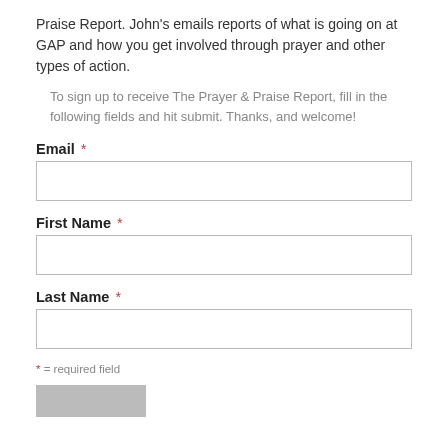Praise Report. John's emails reports of what is going on at GAP and how you get involved through prayer and other types of action.
To sign up to receive The Prayer & Praise Report, fill in the following fields and hit submit. Thanks, and welcome!
Email *
First Name *
Last Name *
* = required field